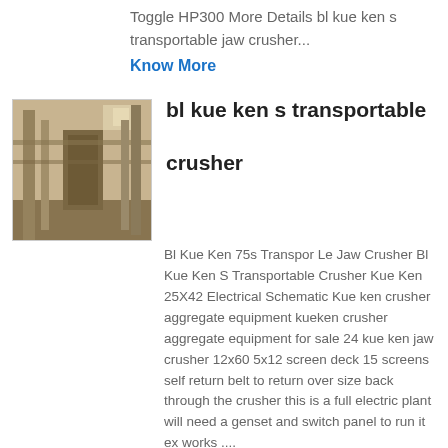Toggle HP300 More Details bl kue ken s transportable jaw crusher...
Know More
[Figure (photo): Photo of industrial crusher interior with structural beams and dust]
bl kue ken s transportable crusher
Bl Kue Ken 75s Transpor Le Jaw Crusher Bl Kue Ken S Transportable Crusher Kue Ken 25X42 Electrical Schematic Kue ken crusher aggregate equipment kueken crusher aggregate equipment for sale 24 kue ken jaw crusher 12x60 5x12 screen deck 15 screens self return belt to return over size back through the crusher this is a full electric plant will need a genset and switch panel to run it ex works ....
Know More
[Figure (photo): Photo of industrial silos or tanks, white structures]
Bl Kue Ken 75S
Transportable Jaw Crusher